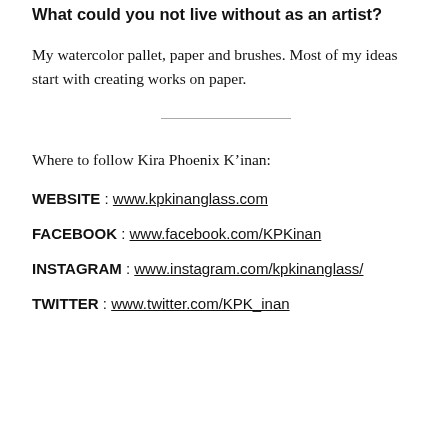What could you not live without as an artist?
My watercolor pallet, paper and brushes. Most of my ideas start with creating works on paper.
Where to follow Kira Phoenix K’inan:
WEBSITE : www.kpkinanglass.com
FACEBOOK : www.facebook.com/KPKinan
INSTAGRAM : www.instagram.com/kpkinanglass/
TWITTER : www.twitter.com/KPK_inan